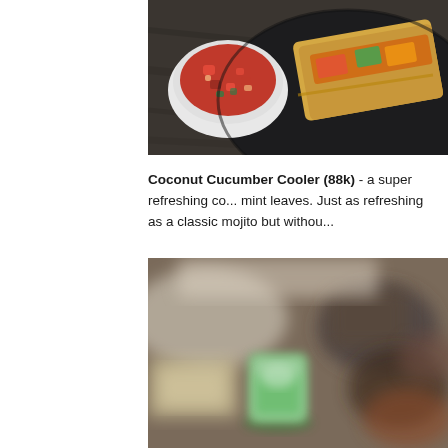[Figure (photo): Top-down view of a bowl of salsa and a quesadilla or burrito on a dark plate, on a wooden table.]
Coconut Cucumber Cooler (88k) - a super refreshing co... mint leaves. Just as refreshing as a classic mojito but withou...
[Figure (photo): Blurred close-up of a green drink (coconut cucumber cooler) in a glass on a table with food in the background.]